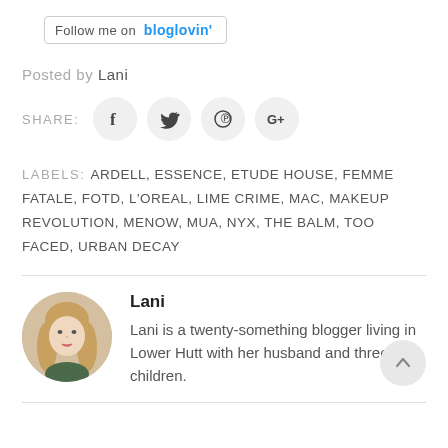[Figure (screenshot): Follow me on bloglovin' button with border]
Posted by Lani
[Figure (infographic): Social share icons: Facebook, Twitter, Pinterest, Google+]
LABELS: ARDELL, ESSENCE, ETUDE HOUSE, FEMME FATALE, FOTD, L'OREAL, LIME CRIME, MAC, MAKEUP REVOLUTION, MENOW, MUA, NYX, THE BALM, TOO FACED, URBAN DECAY
[Figure (photo): Circular portrait photo of blogger Lani, a young blonde woman]
Lani
Lani is a twenty-something blogger living in Lower Hutt with her husband and three children.